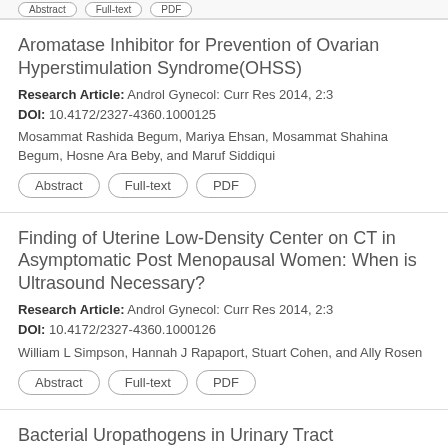Aromatase Inhibitor for Prevention of Ovarian Hyperstimulation Syndrome(OHSS)
Research Article: Androl Gynecol: Curr Res 2014, 2:3
DOI: 10.4172/2327-4360.1000125
Mosammat Rashida Begum, Mariya Ehsan, Mosammat Shahina Begum, Hosne Ara Beby, and Maruf Siddiqui
Abstract
Full-text
PDF
Finding of Uterine Low-Density Center on CT in Asymptomatic Post Menopausal Women: When is Ultrasound Necessary?
Research Article: Androl Gynecol: Curr Res 2014, 2:3
DOI: 10.4172/2327-4360.1000126
William L Simpson, Hannah J Rapaport, Stuart Cohen, and Ally Rosen
Abstract
Full-text
PDF
Bacterial Uropathogens in Urinary Tract